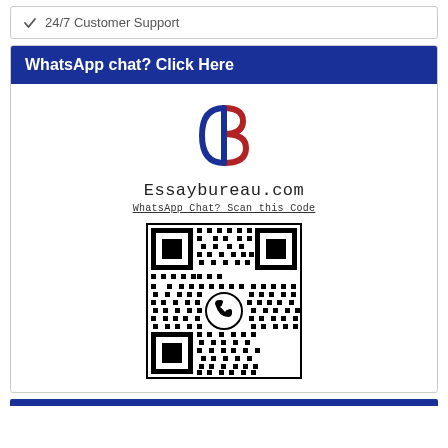✓ 24/7 Customer Support
WhatsApp chat? Click Here
[Figure (logo): Essaybureau.com logo — a stylized letter B with blue left half and red right half, with text 'Essaybureau.com' and 'WhatsApp Chat? Scan this Code' below it, followed by a QR code with a WhatsApp icon in the center]